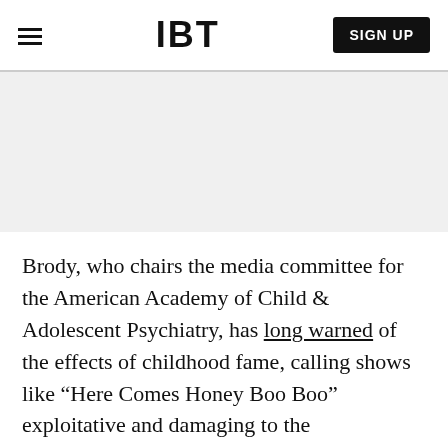IBT  SIGN UP
[Figure (other): Advertisement banner placeholder, light gray background]
Brody, who chairs the media committee for the American Academy of Child & Adolescent Psychiatry, has long warned of the effects of childhood fame, calling shows like “Here Comes Honey Boo Boo” exploitative and damaging to the development of their young stars. He sees some YouTube bloggers as a digital-era extension of the